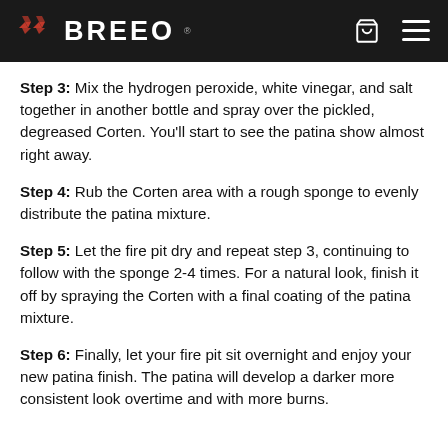BREEO
Step 3: Mix the hydrogen peroxide, white vinegar, and salt together in another bottle and spray over the pickled, degreased Corten. You'll start to see the patina show almost right away.
Step 4: Rub the Corten area with a rough sponge to evenly distribute the patina mixture.
Step 5: Let the fire pit dry and repeat step 3, continuing to follow with the sponge 2-4 times. For a natural look, finish it off by spraying the Corten with a final coating of the patina mixture.
Step 6: Finally, let your fire pit sit overnight and enjoy your new patina finish. The patina will develop a darker more consistent look overtime and with more burns.